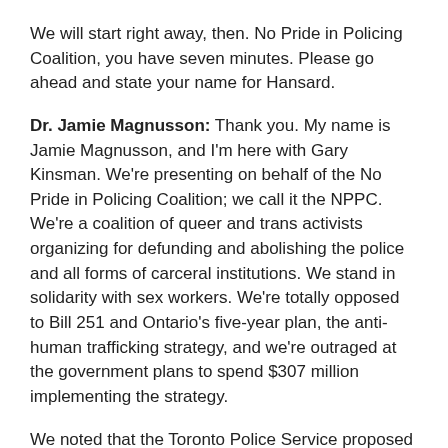We will start right away, then. No Pride in Policing Coalition, you have seven minutes. Please go ahead and state your name for Hansard.
Dr. Jamie Magnusson: Thank you. My name is Jamie Magnusson, and I'm here with Gary Kinsman. We're presenting on behalf of the No Pride in Policing Coalition; we call it the NPPC. We're a coalition of queer and trans activists organizing for defunding and abolishing the police and all forms of carceral institutions. We stand in solidarity with sex workers. We're totally opposed to Bill 251 and Ontario's five-year plan, the anti-human trafficking strategy, and we're outraged at the government plans to spend $307 million implementing the strategy.
We noted that the Toronto Police Service proposed zero dollars in this year's budget, no doubt mindful of the mass demonstrations this past year led by Black, queer and trans activists calling for the defunding and abolishing of the police and all forms of carceral institutions in our...